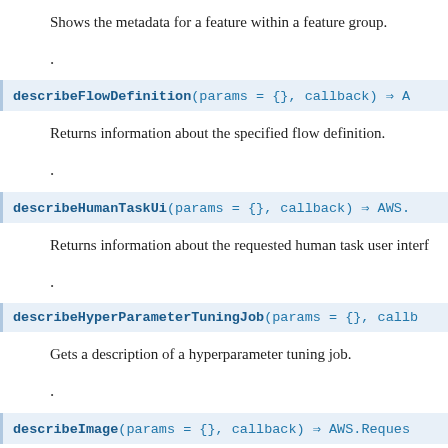Shows the metadata for a feature within a feature group.
.
describeFlowDefinition(params = {}, callback) ⇒ A
Returns information about the specified flow definition.
.
describeHumanTaskUi(params = {}, callback) ⇒ AWS.
Returns information about the requested human task user interf
.
describeHyperParameterTuningJob(params = {}, callb
Gets a description of a hyperparameter tuning job.
.
describeImage(params = {}, callback) ⇒ AWS.Reques
Describes a SageMaker image.
.